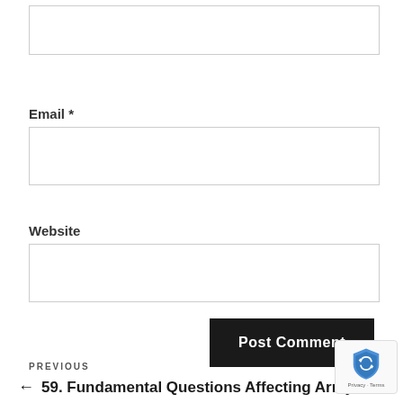[Figure (other): Empty text input box at the top of the page (likely for Name field)]
Email *
[Figure (other): Empty text input box for Email field]
Website
[Figure (other): Empty text input box for Website field]
Post Comment
PREVIOUS
← 59. Fundamental Questions Affecting Army
[Figure (other): Google reCAPTCHA badge in bottom right corner showing shield logo and Privacy - Terms text]